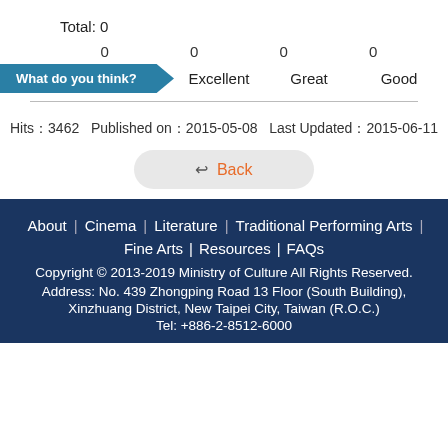Total: 0
0   0   0   0
[Figure (other): Rating widget with teal arrow badge labeled 'What do you think?' and four rating options: Excellent, Great, Good, Normal]
Hits：3462   Published on：2015-05-08   Last Updated：2015-06-11
Back
About | Cinema | Literature | Traditional Performing Arts | Fine Arts | Resources | FAQs
Copyright © 2013-2019 Ministry of Culture All Rights Reserved.
Address: No. 439 Zhongping Road 13 Floor (South Building), Xinzhuang District, New Taipei City, Taiwan (R.O.C.)
Tel: +886-2-8512-6000